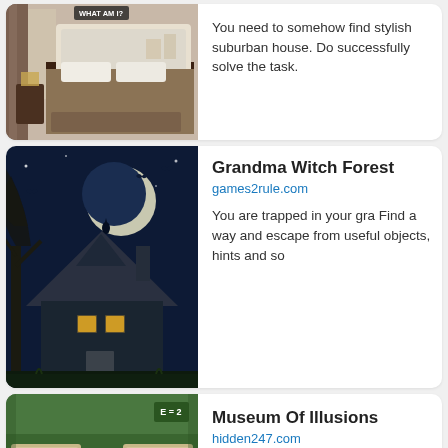[Figure (screenshot): Bedroom interior with brown bedding, white tufted headboard, curtains, and a WHAT AM I? label at top]
You need to somehow find stylish suburban house. Do successfully solve the task.
[Figure (screenshot): Dark atmospheric forest witch house scene with full moon, bats, and glowing windows]
Grandma Witch Forest
games2rule.com
You are trapped in your gra Find a way and escape from useful objects, hints and so
[Figure (screenshot): Museum of illusions escape room game with checkerboard floor, playing card doors, and E=2 sign]
Museum Of Illusions
hidden247.com
Imagine you are a visitor wh way out of the museum of il to open the door.